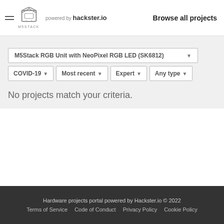M5STACK powered by hackster.io   Browse all projects
M5Stack RGB Unit with NeoPixel RGB LED (SK6812) ▾
COVID-19 ▾   Most recent ▾   Expert ▾   Any type ▾
No projects match your criteria.
Hardware projects portal powered by Hackster.io © 2022
Terms of Service   Code of Conduct   Privacy Policy   Cookie Policy